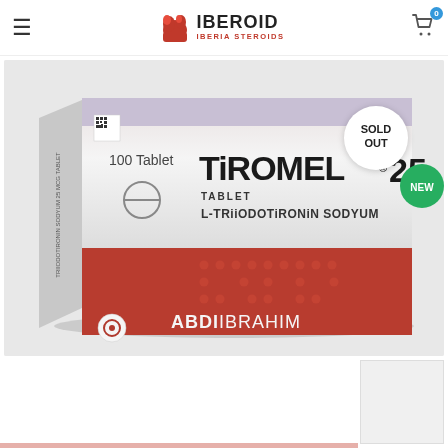IBEROID IBERIA STEROIDS
[Figure (photo): Box of Tiromel 25 tablets by Abdi Ibrahim – 100 Tablet, L-Triiodotironin Sodyum. Box is white on top half and dark red/brown on bottom half with Braille dots. Sold Out badge (white circle) and NEW badge (green circle) overlaid on image.]